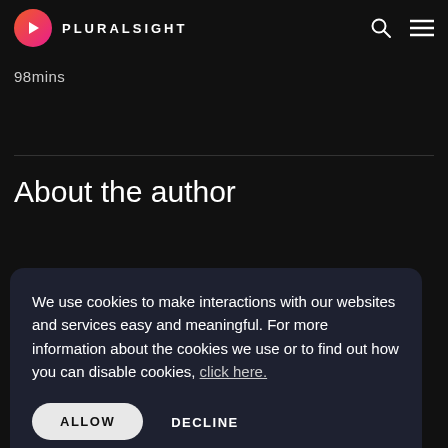PLURALSIGHT
98mins
About the author
We use cookies to make interactions with our websites and services easy and meaningful. For more information about the cookies we use or to find out how you can disable cookies, click here.